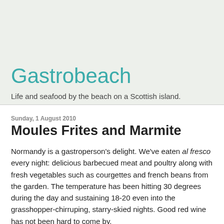Gastrobeach
Life and seafood by the beach on a Scottish island.
Sunday, 1 August 2010
Moules Frites and Marmite
Normandy is a gastroperson's delight. We've eaten al fresco every night: delicious barbecued meat and poultry along with fresh vegetables such as courgettes and french beans from the garden. The temperature has been hitting 30 degrees during the day and sustaining 18-20 even into the grasshopper-chirruping, starry-skied nights. Good red wine has not been hard to come by.
We've also eaten out (as in out out) a couple of times. Last